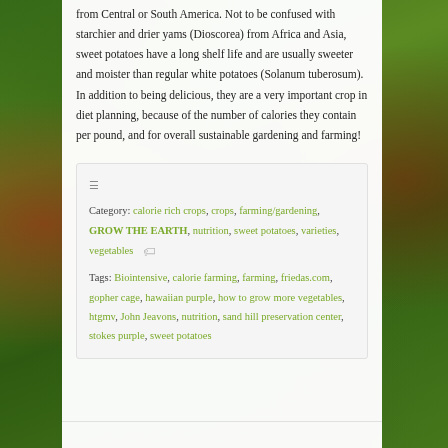from Central or South America. Not to be confused with starchier and drier yams (Dioscorea) from Africa and Asia, sweet potatoes have a long shelf life and are usually sweeter and moister than regular white potatoes (Solanum tuberosum). In addition to being delicious, they are a very important crop in diet planning, because of the number of calories they contain per pound, and for overall sustainable gardening and farming!
Category: calorie rich crops, crops, farming/gardening, GROW THE EARTH, nutrition, sweet potatoes, varieties, vegetables Tags: Biointensive, calorie farming, farming, friedas.com, gopher cage, hawaiian purple, how to grow more vegetables, htgmv, John Jeavons, nutrition, sand hill preservation center, stokes purple, sweet potatoes